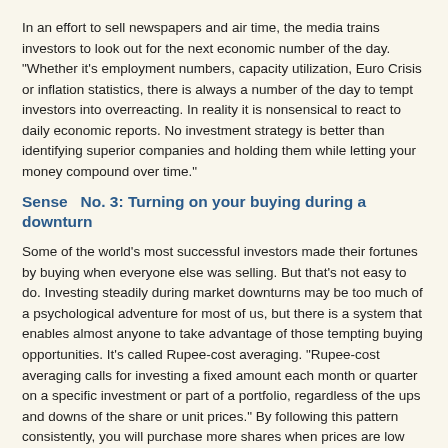In an effort to sell newspapers and air time, the media trains investors to look out for the next economic number of the day. "Whether it's employment numbers, capacity utilization, Euro Crisis or inflation statistics, there is always a number of the day to tempt investors into overreacting. In reality it is nonsensical to react to daily economic reports. No investment strategy is better than identifying superior companies and holding them while letting your money compound over time."
Sense   No. 3: Turning on your buying during a downturn
Some of the world's most successful investors made their fortunes by buying when everyone else was selling. But that's not easy to do. Investing steadily during market downturns may be too much of a psychological adventure for most of us, but there is a system that enables almost anyone to take advantage of those tempting buying opportunities. It's called Rupee-cost averaging. "Rupee-cost averaging calls for investing a fixed amount each month or quarter on a specific investment or part of a portfolio, regardless of the ups and downs of the share or unit prices." By following this pattern consistently, you will purchase more shares when prices are low and fewer shares when prices are high.
For example, if you decide to invest Rs 5000 each month on purchasing shares, you will be able to buy only a few shares if the price is Rs 1000 per share. However, if the price goes down to Rs 500 the next month, the same money will buy twice as many shares.